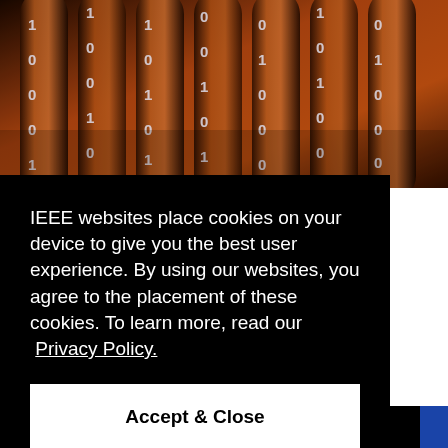[Figure (photo): Photograph of metallic cylindrical tubes with binary numbers (0s and 1s) embossed on them, lit with warm orange/amber lighting, suggesting data, computing, and digital security themes.]
IEEE websites place cookies on your device to give you the best user experience. By using our websites, you agree to the placement of these cookies. To learn more, read our  Privacy Policy.
Accept & Close
[Figure (logo): SECURITY & PRIVACY text logo in bold red lettering at the bottom of the page, partially cropped.]